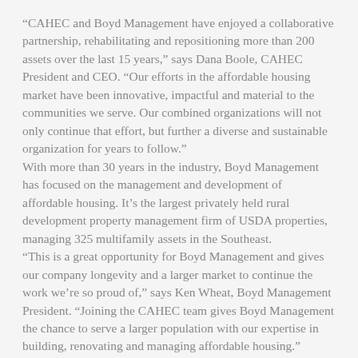“CAHEC and Boyd Management have enjoyed a collaborative partnership, rehabilitating and repositioning more than 200 assets over the last 15 years,” says Dana Boole, CAHEC President and CEO. “Our efforts in the affordable housing market have been innovative, impactful and material to the communities we serve. Our combined organizations will not only continue that effort, but further a diverse and sustainable organization for years to follow.”
With more than 30 years in the industry, Boyd Management has focused on the management and development of affordable housing. It’s the largest privately held rural development property management firm of USDA properties, managing 325 multifamily assets in the Southeast.
“This is a great opportunity for Boyd Management and gives our company longevity and a larger market to continue the work we’re so proud of,” says Ken Wheat, Boyd Management President. “Joining the CAHEC team gives Boyd Management the chance to serve a larger population with our expertise in building, renovating and managing affordable housing.”
With nearly 30 years in the industry and 50 employees, CAHEC has committed and raised more than $2.4 billion toward the financing of low- and moderate-income housing. Along with their syndication work, they have three additional lines of business: